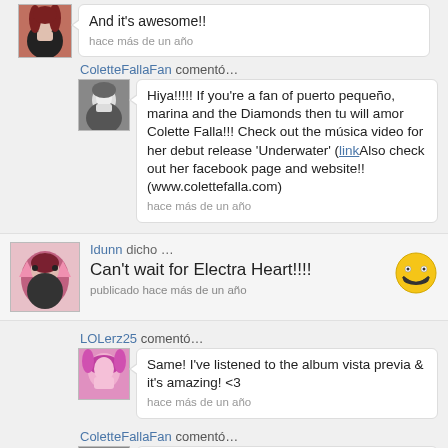[Figure (screenshot): Social media comment thread screenshot showing multiple user comments about Marina and the Diamonds / Electra Heart]
And it's awesome!!
hace más de un año
ColetteFallaFan comentó…
Hiya!!!!! If you're a fan of puerto pequeño, marina and the Diamonds then tu will amor Colette Falla!!! Check out the música video for her debut release 'Underwater' (linkAlso check out her facebook page and website!! (www.colettefalla.com)
hace más de un año
Idunn dicho … Can't wait for Electra Heart!!!!
publicado hace más de un año
LOLerz25 comentó…
Same! I've listened to the album vista previa & it's amazing! <3
hace más de un año
ColetteFallaFan comentó…
Hiya!!!!! If you're a fan of puerto